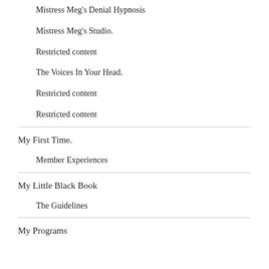Mistress Meg's Denial Hypnosis
Mistress Meg's Studio.
Restricted content
The Voices In Your Head.
Restricted content
Restricted content
My First Time.
Member Experiences
My Little Black Book
The Guidelines
My Programs